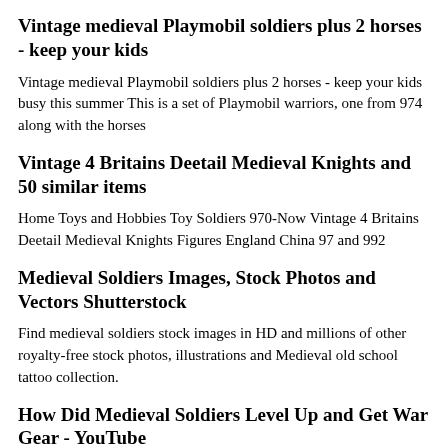Vintage medieval Playmobil soldiers plus 2 horses - keep your kids
Vintage medieval Playmobil soldiers plus 2 horses - keep your kids busy this summer This is a set of Playmobil warriors, one from 974 along with the horses
Vintage 4 Britains Deetail Medieval Knights and 50 similar items
Home Toys and Hobbies Toy Soldiers 970-Now Vintage 4 Britains Deetail Medieval Knights Figures England China 97 and 992
Medieval Soldiers Images, Stock Photos and Vectors Shutterstock
Find medieval soldiers stock images in HD and millions of other royalty-free stock photos, illustrations and Medieval old school tattoo collection.
How Did Medieval Soldiers Level Up and Get War Gear - YouTube